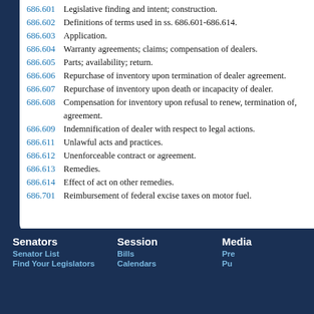686.601 Legislative finding and intent; construction.
686.602 Definitions of terms used in ss. 686.601-686.614.
686.603 Application.
686.604 Warranty agreements; claims; compensation of dealers.
686.605 Parts; availability; return.
686.606 Repurchase of inventory upon termination of dealer agreement.
686.607 Repurchase of inventory upon death or incapacity of dealer.
686.608 Compensation for inventory upon refusal to renew, termination of, agreement.
686.609 Indemnification of dealer with respect to legal actions.
686.611 Unlawful acts and practices.
686.612 Unenforceable contract or agreement.
686.613 Remedies.
686.614 Effect of act on other remedies.
686.701 Reimbursement of federal excise taxes on motor fuel.
Senators | Senator List | Find Your Legislators | Session | Bills | Calendars | Media | Pr... | Pu...